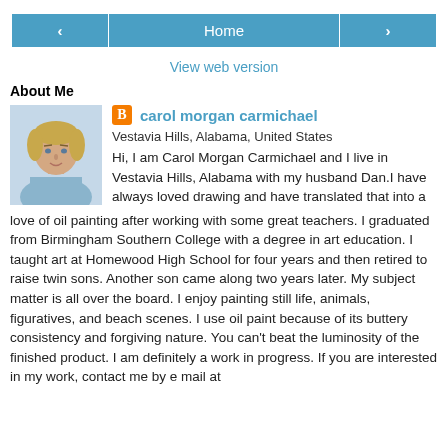[Figure (screenshot): Navigation bar with back arrow button, Home button, and forward arrow button in blue]
View web version
About Me
[Figure (photo): Profile photo of Carol Morgan Carmichael, a middle-aged woman with blonde hair]
carol morgan carmichael
Vestavia Hills, Alabama, United States
Hi, I am Carol Morgan Carmichael and I live in Vestavia Hills, Alabama with my husband Dan.I have always loved drawing and have translated that into a love of oil painting after working with some great teachers. I graduated from Birmingham Southern College with a degree in art education. I taught art at Homewood High School for four years and then retired to raise twin sons. Another son came along two years later. My subject matter is all over the board. I enjoy painting still life, animals, figuratives, and beach scenes. I use oil paint because of its buttery consistency and forgiving nature. You can't beat the luminosity of the finished product. I am definitely a work in progress. If you are interested in my work, contact me by e mail at carolcarmike@att.net